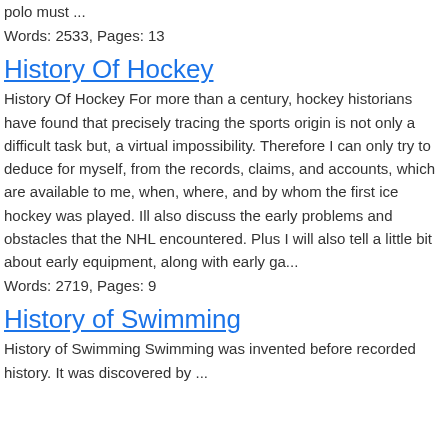polo must ...
Words: 2533, Pages: 13
History Of Hockey
History Of Hockey For more than a century, hockey historians have found that precisely tracing the sports origin is not only a difficult task but, a virtual impossibility. Therefore I can only try to deduce for myself, from the records, claims, and accounts, which are available to me, when, where, and by whom the first ice hockey was played. Ill also discuss the early problems and obstacles that the NHL encountered. Plus I will also tell a little bit about early equipment, along with early ga...
Words: 2719, Pages: 9
History of Swimming
History of Swimming Swimming was invented before recorded history. It was discovered by ...